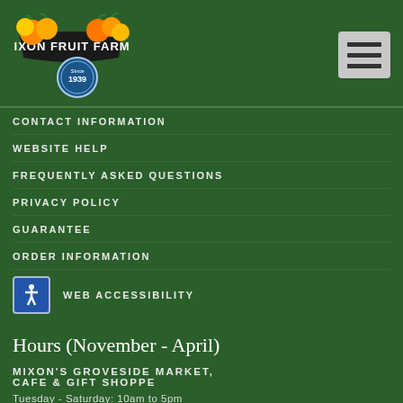[Figure (logo): Mixon Fruit Farms logo with fruit imagery and 'Since 1939' badge]
CONTACT INFORMATION
WEBSITE HELP
FREQUENTLY ASKED QUESTIONS
PRIVACY POLICY
GUARANTEE
ORDER INFORMATION
WEB ACCESSIBILITY
Hours (November - April)
MIXON'S GROVESIDE MARKET, CAFE & GIFT SHOPPE
Tuesday - Saturday: 10am to 5pm